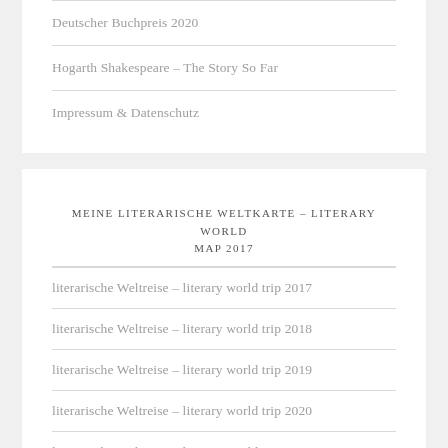Deutscher Buchpreis 2020
Hogarth Shakespeare – The Story So Far
Impressum & Datenschutz
MEINE LITERARISCHE WELTKARTE – LITERARY WORLD MAP 2017
literarische Weltreise – literary world trip 2017
literarische Weltreise – literary world trip 2018
literarische Weltreise – literary world trip 2019
literarische Weltreise – literary world trip 2020
literarische Weltreise – literary world trip 2021
literarische Weltreise – literary world trip 2022